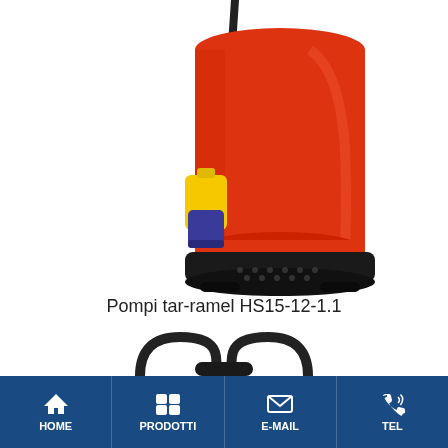[Figure (photo): Close-up photo of a red submersible pump (HS15-12-1.1) with a black base/foot, a yellow float switch with blue/purple float body, and a black power cable extending upward from the top.]
Pompi tar-ramel HS15-12-1.1
[Figure (photo): Partial view of a black wheeled cart or trolley handle bars seen from above, against a white background.]
HOME  PRODOTTI  E-MAIL  TEL